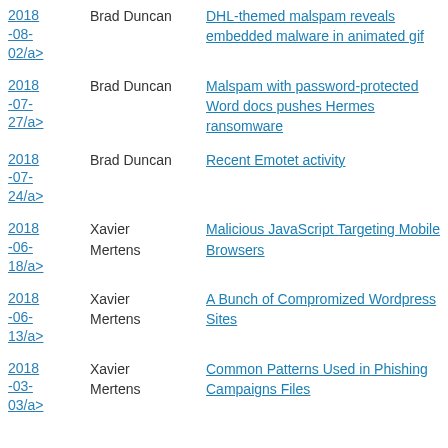| Date | Author | Title |
| --- | --- | --- |
| 2018-08-02/a> | Brad Duncan | DHL-themed malspam reveals embedded malware in animated gif |
| 2018-07-27/a> | Brad Duncan | Malspam with password-protected Word docs pushes Hermes ransomware |
| 2018-07-24/a> | Brad Duncan | Recent Emotet activity |
| 2018-06-18/a> | Xavier Mertens | Malicious JavaScript Targeting Mobile Browsers |
| 2018-06-13/a> | Xavier Mertens | A Bunch of Compromized Wordpress Sites |
| 2018-03-03/a> | Xavier Mertens | Common Patterns Used in Phishing Campaigns Files |